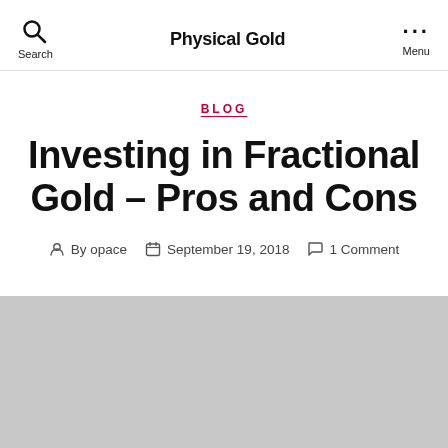Physical Gold
BLOG
Investing in Fractional Gold – Pros and Cons
By opace   September 19, 2018   1 Comment